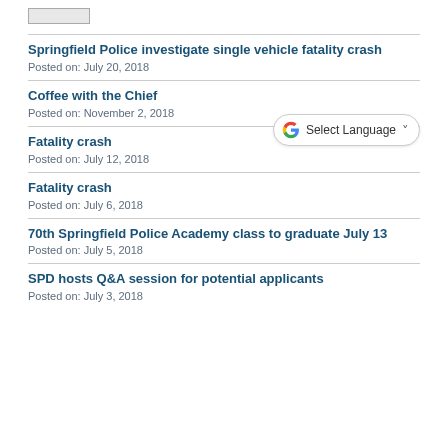[Figure (other): Small rectangular logo/image placeholder at top left]
Springfield Police investigate single vehicle fatality crash
Posted on: July 20, 2018
Coffee with the Chief
[Figure (other): Google Translate widget with G logo, 'Select Language' text and dropdown arrow]
Posted on: November 2, 2018
Fatality crash
Posted on: July 12, 2018
Fatality crash
Posted on: July 6, 2018
70th Springfield Police Academy class to graduate July 13
Posted on: July 5, 2018
SPD hosts Q&A session for potential applicants
Posted on: July 3, 2018